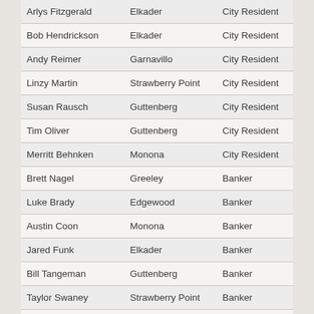| Arlys Fitzgerald | Elkader | City Resident |
| Bob Hendrickson | Elkader | City Resident |
| Andy Reimer | Garnavillo | City Resident |
| Linzy Martin | Strawberry Point | City Resident |
| Susan Rausch | Guttenberg | City Resident |
| Tim Oliver | Guttenberg | City Resident |
| Merritt Behnken | Monona | City Resident |
| Brett Nagel | Greeley | Banker |
| Luke Brady | Edgewood | Banker |
| Austin Coon | Monona | Banker |
| Jared Funk | Elkader | Banker |
| Bill Tangeman | Guttenberg | Banker |
| Taylor Swaney | Strawberry Point | Banker |
| Keith Garms | Elkader | Banker |